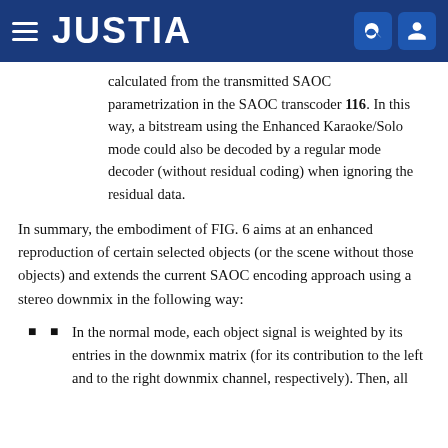JUSTIA
calculated from the transmitted SAOC parametrization in the SAOC transcoder 116. In this way, a bitstream using the Enhanced Karaoke/Solo mode could also be decoded by a regular mode decoder (without residual coding) when ignoring the residual data.
In summary, the embodiment of FIG. 6 aims at an enhanced reproduction of certain selected objects (or the scene without those objects) and extends the current SAOC encoding approach using a stereo downmix in the following way:
In the normal mode, each object signal is weighted by its entries in the downmix matrix (for its contribution to the left and to the right downmix channel, respectively). Then, all